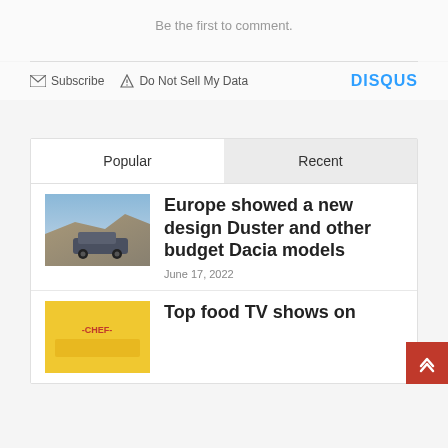Be the first to comment.
Subscribe   Do Not Sell My Data   DISQUS
Popular
Recent
[Figure (photo): Thumbnail of a Dacia Duster car on a rocky terrain road]
Europe showed a new design Duster and other budget Dacia models
June 17, 2022
[Figure (photo): Thumbnail with yellow background showing chef text, food TV show image]
Top food TV shows on